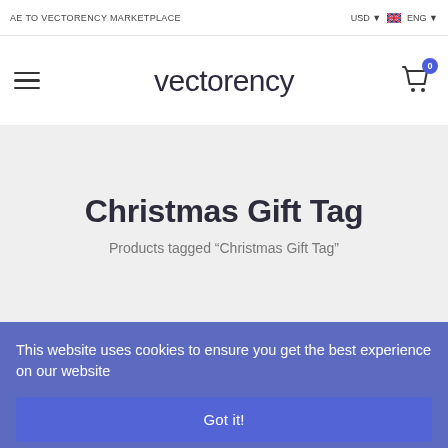AE TO VECTORENCY MARKETPLACE   USD   ENG
[Figure (logo): Vectorency logo with hamburger menu and shopping cart icon with badge showing 0]
Christmas Gift Tag
Products tagged “Christmas Gift Tag”
This website uses cookies to ensure you get the best experience on our website
Got it!